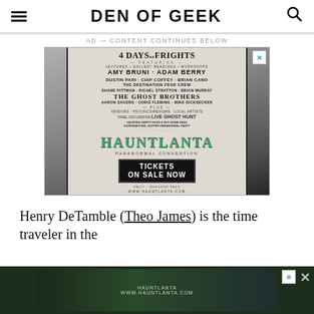DEN OF GEEK
AD — CONTENT CONTINUES BELOW
[Figure (photo): Hauntlanta Paranormal Convention advertisement poster showing event details including '4 Days of Frights', featuring Amy Bruni, Adam Berry, The Ghost Brothers, and others. Green HAUNTLANTA logo with 'Tickets On Sale Now' and website www.hauntlanta.com]
Henry DeTamble (Theo James) is the time traveler in the